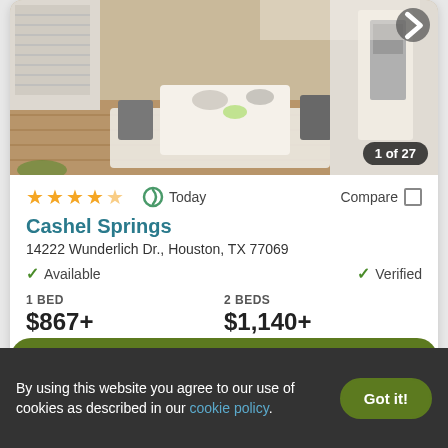[Figure (photo): Interior apartment photo showing a dining area with white table, chairs, and hardwood floors]
1 of 27
★★★★★ Today Compare
Cashel Springs
14222 Wunderlich Dr., Houston, TX 77069
✓ Available   ✓ Verified
1 BED
$867+
2 BEDS
$1,140+
View Details
Contact Property
By using this website you agree to our use of cookies as described in our cookie policy.
Got it!